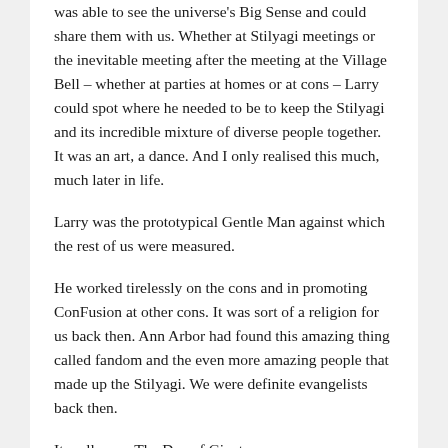was able to see the universe's Big Sense and could share them with us. Whether at Stilyagi meetings or the inevitable meeting after the meeting at the Village Bell – whether at parties at homes or at cons – Larry could spot where he needed to be to keep the Stilyagi and its incredible mixture of diverse people together. It was an art, a dance. And I only realised this much, much later in life.
Larry was the prototypical Gentle Man against which the rest of us were measured.
He worked tirelessly on the cons and in promoting ConFusion at other cons. It was sort of a religion for us back then. Ann Arbor had found this amazing thing called fandom and the even more amazing people that made up the Stilyagi. We were definite evangelists back then.
It really was The Day of Giants.
Larry brought me into his world of video. His mother, Nancy Tucker (later, Nancy Tucker Shaw, ran the AV